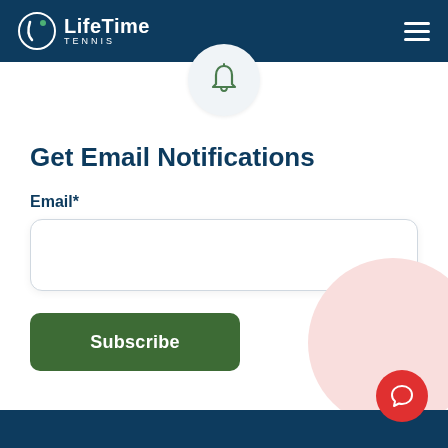LifeTime Tennis
[Figure (illustration): Bell notification icon inside a light gray circle, centered at top of page]
Get Email Notifications
Email*
[Figure (screenshot): Empty email text input field with rounded border]
Subscribe button in dark green
[Figure (illustration): Pink circular blob decoration in bottom right corner with red chat button overlay]